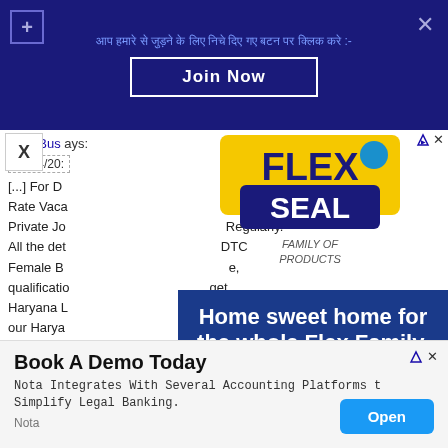[Figure (screenshot): Dark blue notification bar with Hindi text, plus button, X close button, and 'Join Now' button]
DTC Bus ... ays:
02/04/20...
[...] For D... a DC Rate Vaca... aryana Private Jo... Regularly. All the det... OTC Female B... e, qualificatio... get Haryana L... na join our Harya... r Haryana Jobs Alert...
[Figure (screenshot): Flex Seal Family of Products logo advertisement]
[Figure (screenshot): Lowe's advertisement with text 'Home sweet home for the whole Flex Family.' and Lowe's logo]
Reply
IITM Co...
02/04/2...
[...] For ... 2022, Haryana... 2022
[Figure (screenshot): Bottom ad: 'Book A Demo Today' - Nota integrates with several accounting platforms to simplify legal banking. Open button.]